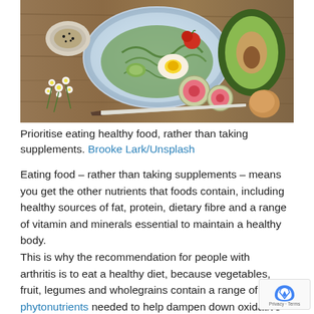[Figure (photo): Overhead view of a healthy food spread on a wooden table: a blue plate with salad, halved boiled egg, and vegetables; sliced avocado; watermelon radishes; cherry tomatoes; a bowl of spices; white flowers; and a knife]
Prioritise eating healthy food, rather than taking supplements. Brooke Lark/Unsplash
Eating food – rather than taking supplements – means you get the other nutrients that foods contain, including healthy sources of fat, protein, dietary fibre and a range of vitamin and minerals essential to maintain a healthy body.
This is why the recommendation for people with arthritis is to eat a healthy diet, because vegetables, fruit, legumes and wholegrains contain a range of phytonutrients needed to help dampen down oxidative